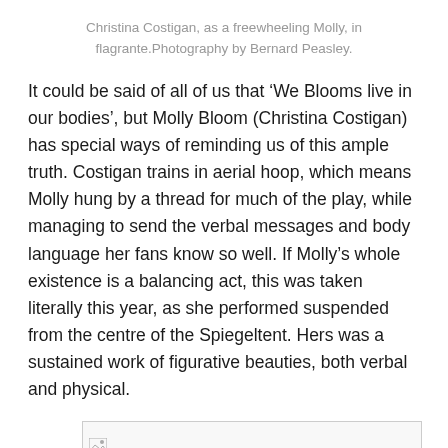Christina Costigan, as a freewheeling Molly, in flagrante.Photography by Bernard Peasley.
It could be said of all of us that ‘We Blooms live in our bodies’, but Molly Bloom (Christina Costigan) has special ways of reminding us of this ample truth. Costigan trains in aerial hoop, which means Molly hung by a thread for much of the play, while managing to send the verbal messages and body language her fans know so well. If Molly’s whole existence is a balancing act, this was taken literally this year, as she performed suspended from the centre of the Spiegeltent. Hers was a sustained work of figurative beauties, both verbal and physical.
[Figure (photo): A broken/missing image placeholder]